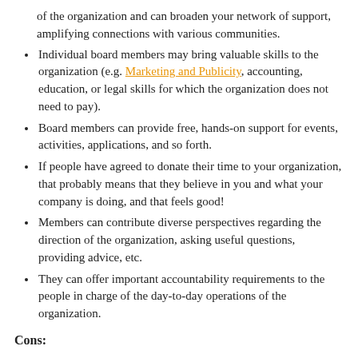of the organization and can broaden your network of support, amplifying connections with various communities.
Individual board members may bring valuable skills to the organization (e.g. Marketing and Publicity, accounting, education, or legal skills for which the organization does not need to pay).
Board members can provide free, hands-on support for events, activities, applications, and so forth.
If people have agreed to donate their time to your organization, that probably means that they believe in you and what your company is doing, and that feels good!
Members can contribute diverse perspectives regarding the direction of the organization, asking useful questions, providing advice, etc.
They can offer important accountability requirements to the people in charge of the day-to-day operations of the organization.
Cons:
Boards require you to relinquish into their hands ultimate decision-making responsibilities for the organization. If it